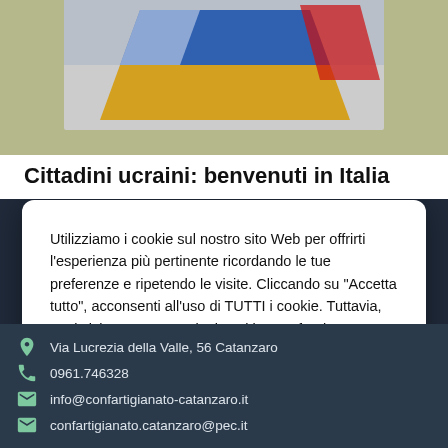[Figure (illustration): Ukrainian and Italian flag design on a beige/olive background, partially visible at top]
Cittadini ucraini: benvenuti in Italia
Utilizziamo i cookie sul nostro sito Web per offrirti l'esperienza più pertinente ricordando le tue preferenze e ripetendo le visite. Cliccando su "Accetta tutto", acconsenti all'uso di TUTTI i cookie. Tuttavia, puoi visitare "Impostazioni cookie" per fornire un consenso controllato.
Cookie Impostazioni | Accetta tutti | Rifiuta
Via Lucrezia della Valle, 56 Catanzaro
0961.746328
info@confartigianato-catanzaro.it
confartigianato.catanzaro@pec.it